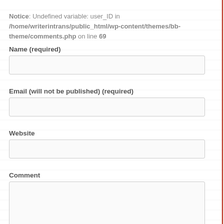Notice: Undefined variable: user_ID in /home/writerintrans/public_html/wp-content/themes/bb-theme/comments.php on line 69
Name (required)
[Figure (other): Empty text input field for Name]
Email (will not be published) (required)
[Figure (other): Empty text input field for Email]
Website
[Figure (other): Empty text input field for Website]
Comment
[Figure (other): Empty textarea for Comment]